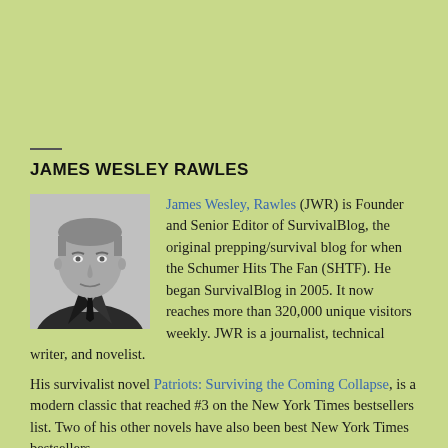JAMES WESLEY RAWLES
[Figure (photo): Black and white portrait photo of James Wesley Rawles, a middle-aged man in a suit, facing the camera.]
James Wesley, Rawles (JWR) is Founder and Senior Editor of SurvivalBlog, the original prepping/survival blog for when the Schumer Hits The Fan (SHTF). He began SurvivalBlog in 2005. It now reaches more than 320,000 unique visitors weekly. JWR is a journalist, technical writer, and novelist. His survivalist novel Patriots: Surviving the Coming Collapse, is a modern classic that reached #3 on the New York Times bestsellers list. Two of his other novels have also been best New York Times bestsellers.
Jim is the originator of the American Redoubt movement and a frequent talk show and podcast guest. He is also a retreat consultant specializing in off-grid living, rural relocation, and survival preparedness.